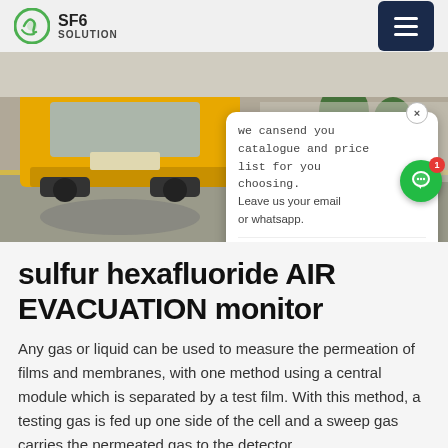SF6 SOLUTION
[Figure (photo): Outdoor scene showing a yellow truck/bus on a road near a facility with trees and a metal fence, taken from a security camera perspective.]
we cansend you catalogue and price list for you choosing. Leave us your email or whatsapp.
sulfur hexafluoride AIR EVACUATION monitor
Any gas or liquid can be used to measure the permeation of films and membranes, with one method using a central module which is separated by a test film. With this method, a testing gas is fed up one side of the cell and a sweep gas carries the permeated gas to the detector.
Get Price